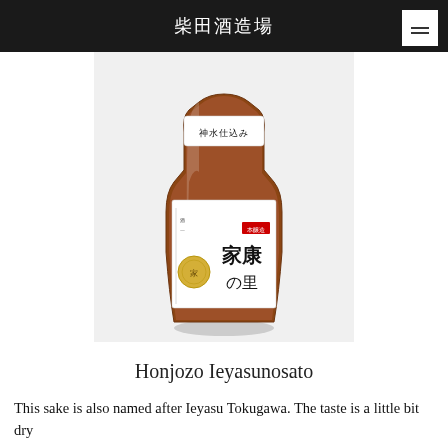柴田酒造場
[Figure (photo): A brown glass sake bottle with a white label featuring Japanese calligraphy reading 家康の里, with a gold circular emblem and red accents. The bottle also has a white neck label reading 神水仕込み.]
Honjozo Ieyasunosato
This sake is also named after Ieyasu Tokugawa. The taste is a little bit dry and good for close drinks.